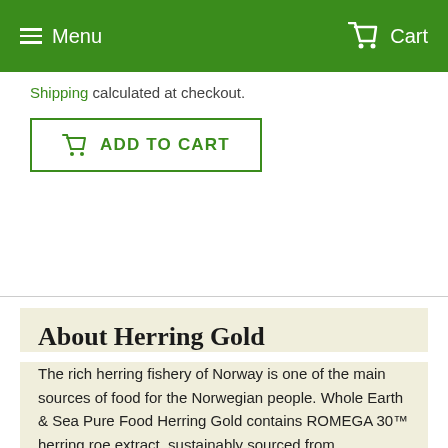Menu  Cart
Shipping calculated at checkout.
ADD TO CART
About Herring Gold
The rich herring fishery of Norway is one of the main sources of food for the Norwegian people. Whole Earth & Sea Pure Food Herring Gold contains ROMEGA 30™ herring roe extract, sustainably sourced from Norwegian spring-spawning herring. It is rich in the important omega-3 fatty acids DHA and EPA, as well as choline and phosphatidylserine, significant sources of DHA and...